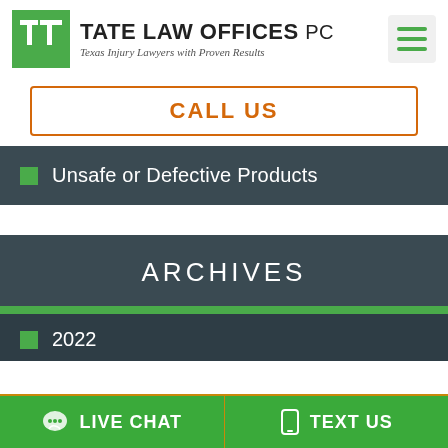[Figure (logo): Tate Law Offices PC logo with green square icon containing white T shapes, firm name in bold, and tagline 'Texas Injury Lawyers with Proven Results']
CALL US
Unsafe or Defective Products
ARCHIVES
2022
LIVE CHAT
TEXT US